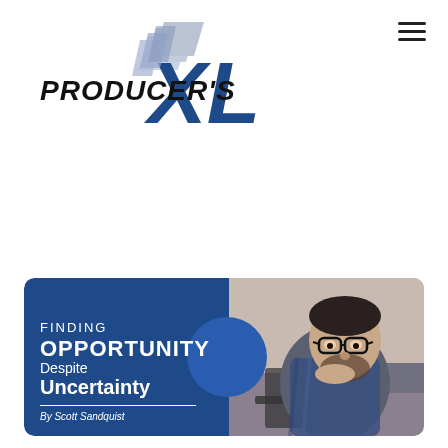[Figure (logo): Producer's XL logo with stylized blue XL letters and layered parallelogram design]
[Figure (infographic): Banner image with dark blue left panel reading 'Finding Opportunity Despite Uncertainty By Scott Sandquist' and a photo of a man in glasses looking at a laptop on the right]
Finding Opportunity Despite Uncertainty
By Scott Sandquist